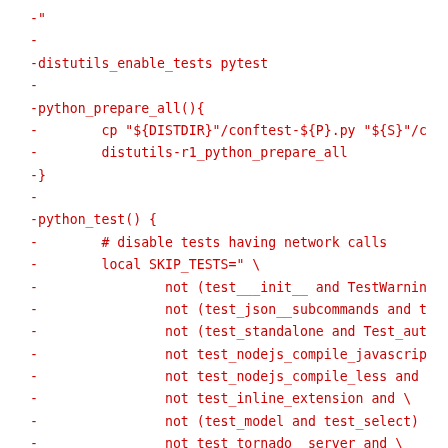-"
-
-distutils_enable_tests pytest
-
-python_prepare_all(){
-        cp "${DISTDIR}"/conftest-${P}.py "${S}"/c
-        distutils-r1_python_prepare_all
-}
-
-python_test() {
-        # disable tests having network calls
-        local SKIP_TESTS=" \
-                not (test___init__ and TestWarnin
-                not (test_json__subcommands and t
-                not (test_standalone and Test_aut
-                not test_nodejs_compile_javascrip
-                not test_nodejs_compile_less and
-                not test_inline_extension and \
-                not (test_model and test_select)
-                not test_tornado__server and \
-                not test_client_server and \
-                not test_webdriver and \